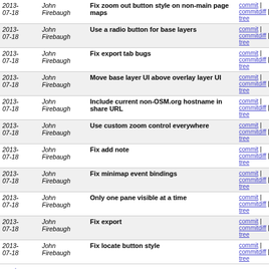| Date | Author | Message | Links |
| --- | --- | --- | --- |
| 2013-07-18 | John Firebaugh | Fix zoom out button style on non-main page maps | commit | commitdiff | tree |
| 2013-07-18 | John Firebaugh | Use a radio button for base layers | commit | commitdiff | tree |
| 2013-07-18 | John Firebaugh | Fix export tab bugs | commit | commitdiff | tree |
| 2013-07-18 | John Firebaugh | Move base layer UI above overlay layer UI | commit | commitdiff | tree |
| 2013-07-18 | John Firebaugh | Include current non-OSM.org hostname in share URL | commit | commitdiff | tree |
| 2013-07-18 | John Firebaugh | Use custom zoom control everywhere | commit | commitdiff | tree |
| 2013-07-18 | John Firebaugh | Fix add note | commit | commitdiff | tree |
| 2013-07-18 | John Firebaugh | Fix minimap event bindings | commit | commitdiff | tree |
| 2013-07-18 | John Firebaugh | Only one pane visible at a time | commit | commitdiff | tree |
| 2013-07-18 | John Firebaugh | Fix export | commit | commitdiff | tree |
| 2013-07-18 | John Firebaugh | Fix locate button style | commit | commitdiff | tree |
next
The OpenStreetMap web site